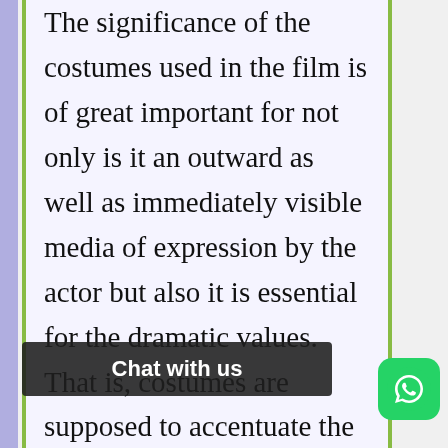The significance of the costumes used in the film is of great important for not only is it an outward as well as immediately visible media of expression by the actor but also it is essential for the dramatic values. That is, costumes are supposed to accentuate the actions in the film. Hence, the colors, shapes, and texture of the costume can make [a] character, whic[h]